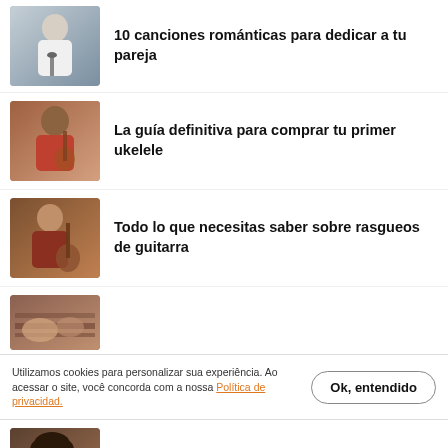[Figure (photo): Person playing guitar at microphone, wearing white shirt]
10 canciones románticas para dedicar a tu pareja
[Figure (photo): Woman in red dress playing ukulele, smiling]
La guía definitiva para comprar tu primer ukelele
[Figure (photo): Man in dark red shirt playing guitar]
Todo lo que necesitas saber sobre rasgueos de guitarra
[Figure (photo): Partial image of hands on guitar strings]
Utilizamos cookies para personalizar sua experiência. Ao acessar o site, você concorda com a nossa Política de privacidad.
[Figure (photo): Man with curly dark hair, partial view]
Conoce la historia de Sergio Abalos,